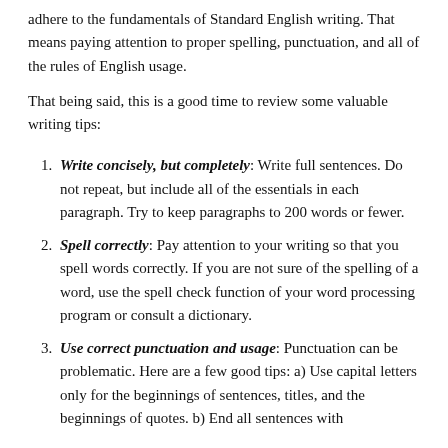adhere to the fundamentals of Standard English writing. That means paying attention to proper spelling, punctuation, and all of the rules of English usage.
That being said, this is a good time to review some valuable writing tips:
Write concisely, but completely: Write full sentences. Do not repeat, but include all of the essentials in each paragraph. Try to keep paragraphs to 200 words or fewer.
Spell correctly: Pay attention to your writing so that you spell words correctly. If you are not sure of the spelling of a word, use the spell check function of your word processing program or consult a dictionary.
Use correct punctuation and usage: Punctuation can be problematic. Here are a few good tips: a) Use capital letters only for the beginnings of sentences, titles, and the beginnings of quotes. b) End all sentences with